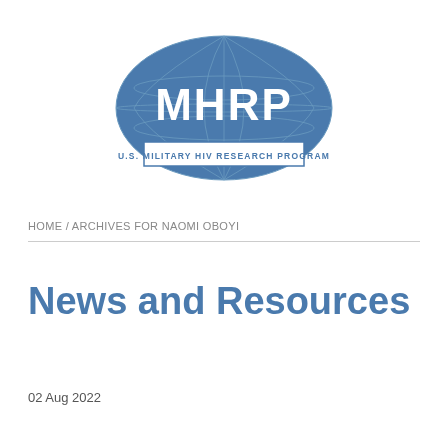[Figure (logo): MHRP U.S. Military HIV Research Program logo — blue oval with globe grid lines, large white letters MHRP, and a rectangular banner below reading U.S. MILITARY HIV RESEARCH PROGRAM]
HOME / ARCHIVES FOR NAOMI OBOYI
News and Resources
02 Aug 2022